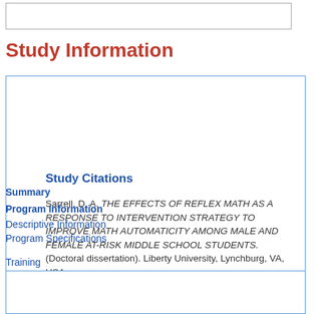[Figure (other): Empty bordered box at top of page]
Study Information
Study Citations
Sarrell, D. A. THE EFFECTS OF REFLEX MATH AS A RESPONSE TO INTERVENTION STRATEGY TO IMPROVE MATH AUTOMATICITY AMONG MALE AND FEMALE AT-RISK MIDDLE SCHOOL STUDENTS. (Doctoral dissertation). Liberty University, Lynchburg, VA, USA.
Summary
Program Information
Descriptive Information
Program Specifications
Training
Evidence Base
Participants
Study Information